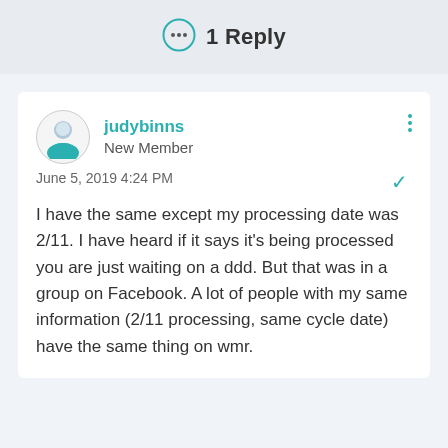1 Reply
judybinns
New Member
June 5, 2019 4:24 PM
I have the same except my processing date was 2/11. I have heard if it says it's being processed you are just waiting on a ddd. But that was in a group on Facebook. A lot of people with my same information (2/11 processing, same cycle date) have the same thing on wmr.